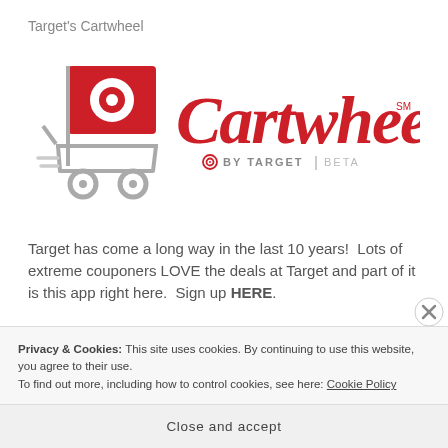Target's Cartwheel
[Figure (logo): Target's Cartwheel logo — red shopping cart with Target bullseye logo on a flag, and 'Cartwheel by Target | Beta' script/text wordmark in red]
Target has come a long way in the last 10 years!  Lots of extreme couponers LOVE the deals at Target and part of it is this app right here.  Sign up HERE.
Privacy & Cookies: This site uses cookies. By continuing to use this website, you agree to their use.
To find out more, including how to control cookies, see here: Cookie Policy
Close and accept